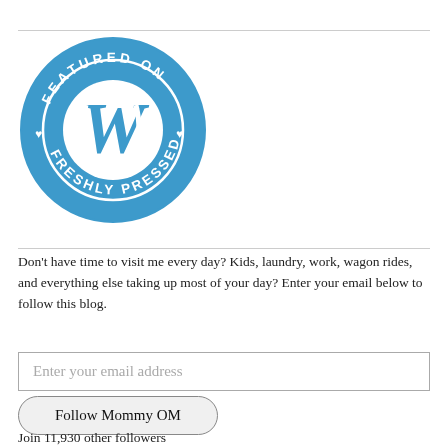[Figure (logo): WordPress 'Featured on Freshly Pressed' circular badge in blue with white W logo and text around the border]
Don't have time to visit me every day? Kids, laundry, work, wagon rides, and everything else taking up most of your day? Enter your email below to follow this blog.
Enter your email address
Follow Mommy OM
Join 11,930 other followers